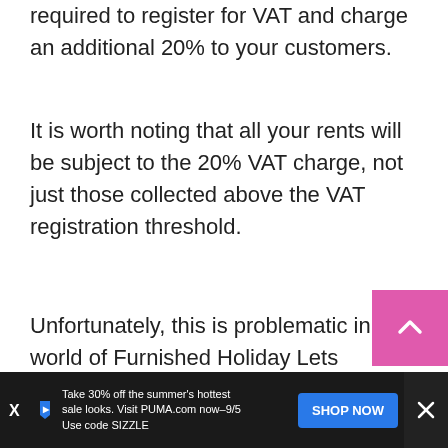Airbnb reaches this threshold, you are required to register for VAT and charge an additional 20% to your customers.
It is worth noting that all your rents will be subject to the 20% VAT charge, not just those collected above the VAT registration threshold.
Unfortunately, this is problematic in the world of Furnished Holiday Lets because it simply makes your pricing uncompetitive. There are many reports of people struggling to rent their holiday homes once they...